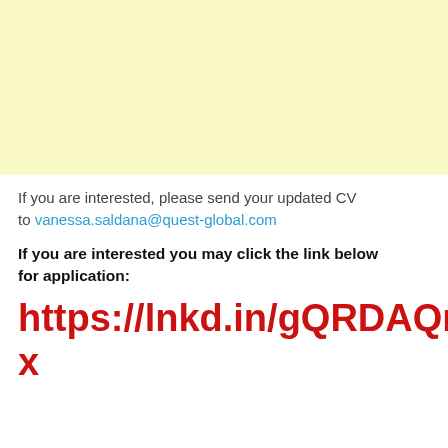[Figure (other): Yellow/cream colored background block at the top of the page]
If you are interested, please send your updated CV to vanessa.saldana@quest-global.com
If you are interested you may click the link below for application:
https://lnkd.in/gQRDAQmx